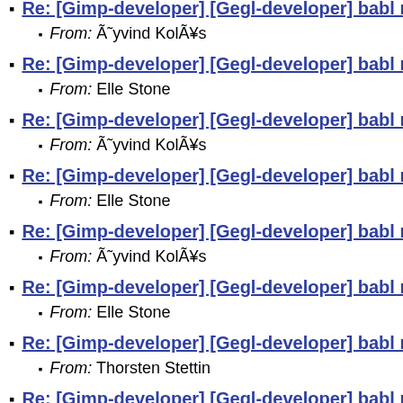Re: [Gimp-developer] [Gegl-developer] babl ro...
From: Øyvind Kolås
Re: [Gimp-developer] [Gegl-developer] babl ro...
From: Elle Stone
Re: [Gimp-developer] [Gegl-developer] babl ro...
From: Øyvind Kolås
Re: [Gimp-developer] [Gegl-developer] babl ro...
From: Elle Stone
Re: [Gimp-developer] [Gegl-developer] babl ro...
From: Øyvind Kolås
Re: [Gimp-developer] [Gegl-developer] babl ro...
From: Elle Stone
Re: [Gimp-developer] [Gegl-developer] babl ro...
From: Thorsten Stettin
Re: [Gimp-developer] [Gegl-developer] babl ro...